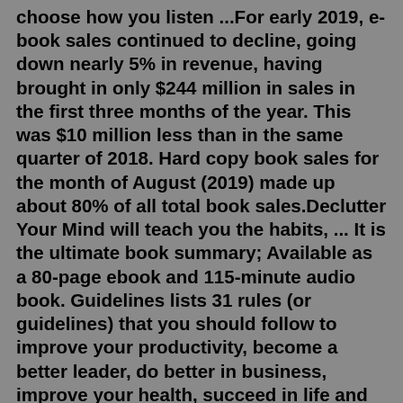choose how you listen ...For early 2019, e-book sales continued to decline, going down nearly 5% in revenue, having brought in only $244 million in sales in the first three months of the year. This was $10 million less than in the same quarter of 2018. Hard copy book sales for the month of August (2019) made up about 80% of all total book sales.Declutter Your Mind will teach you the habits, ... It is the ultimate book summary; Available as a 80-page ebook and 115-minute audio book. Guidelines lists 31 rules (or guidelines) that you should follow to improve your productivity, become a better leader, do better in business, improve your health, succeed in life and become a happier personRead more. Collection Development Listen if You Dare: Two New 'Audio Firsts' & More Scarily-Good Picks. Collection Development Check Your Holds for Hot Summer Listens. LibraryReads Make Great Listens. Dragon Audiobooks for Adults See All. Summer 2022 BOT Audiobook Titles See All. Ice Cream-related Listens See All. Tap on the audiobook that has a PDF to open...